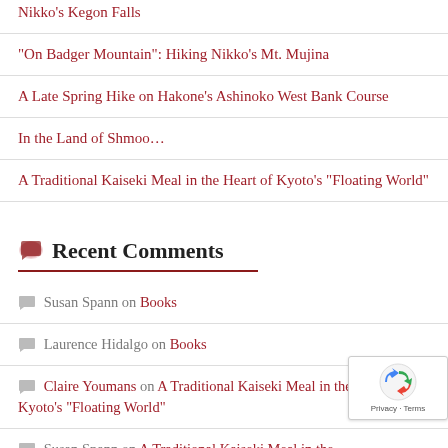Nikko's Kegon Falls
"On Badger Mountain": Hiking Nikko's Mt. Mujina
A Late Spring Hike on Hakone's Ashinoko West Bank Course
In the Land of Shmoo…
A Traditional Kaiseki Meal in the Heart of Kyoto's "Floating World"
Recent Comments
Susan Spann on Books
Laurence Hidalgo on Books
Claire Youmans on A Traditional Kaiseki Meal in the Heart of Kyoto's "Floating World"
Susan Spann on A Traditional Kaiseki Meal in the Heart of Kyoto's "Floating World"